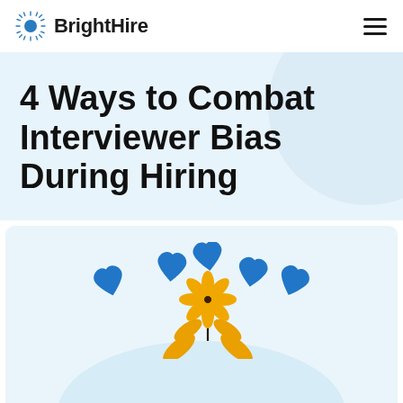BrightHire
4 Ways to Combat Interviewer Bias During Hiring
[Figure (illustration): Illustration of a yellow flower with blue hearts floating above it on a light blue background]